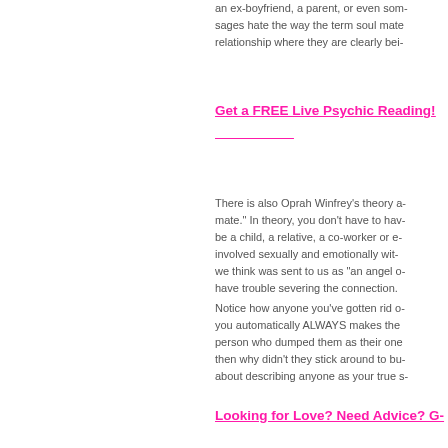an ex-boyfriend, a parent, or even som- sages hate the way the term soul mate relationship where they are clearly bei-
Get a FREE Live Psychic Reading!
There is also Oprah Winfrey's theory a- mate." In theory, you don't have to hav- be a child, a relative, a co-worker or e- involved sexually and emotionally wit- we think was sent to us as "an angel o- have trouble severing the connection.
Notice how anyone you've gotten rid o- you automatically ALWAYS makes the person who dumped them as their one then why didn't they stick around to bu- about describing anyone as your true s-
Looking for Love? Need Advice? G-